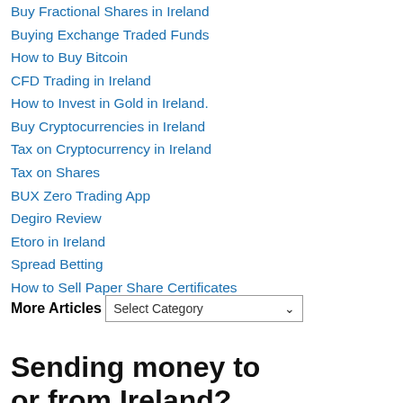Buy Fractional Shares in Ireland
Buying Exchange Traded Funds
How to Buy Bitcoin
CFD Trading in Ireland
How to Invest in Gold in Ireland.
Buy Cryptocurrencies in Ireland
Tax on Cryptocurrency in Ireland
Tax on Shares
BUX Zero Trading App
Degiro Review
Etoro in Ireland
Spread Betting
How to Sell Paper Share Certificates
More Articles
Select Category
Sending money to or from Ireland?